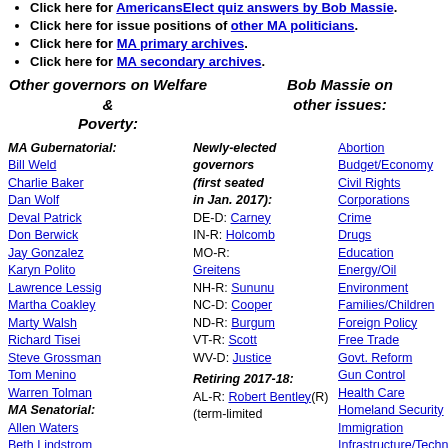Click here for AmericansElect quiz answers by Bob Massie.
Click here for issue positions of other MA politicians.
Click here for MA primary archives.
Click here for MA secondary archives.
Other governors on Welfare & Poverty:
Bob Massie on other issues:
MA Gubernatorial: Bill Weld, Charlie Baker, Dan Wolf, Deval Patrick, Don Berwick, Jay Gonzalez, Karyn Polito, Lawrence Lessig, Martha Coakley, Marty Walsh, Richard Tisei, Steve Grossman, Tom Menino, Warren Tolman, MA Senatorial: Allen Waters, Beth Lindstrom, Brian Herr
Newly-elected governors (first seated in Jan. 2017): DE-D: Carney, IN-R: Holcomb, MO-R: Greitens, NH-R: Sununu, NC-D: Cooper, ND-R: Burgum, VT-R: Scott, WV-D: Justice. Retiring 2017-18: AL-R: Robert Bentley(R) (term-limited
Abortion, Budget/Economy, Civil Rights, Corporations, Crime, Drugs, Education, Energy/Oil, Environment, Families/Children, Foreign Policy, Free Trade, Govt. Reform, Gun Control, Health Care, Homeland Security, Immigration, Infrastructure/Technology, Jobs